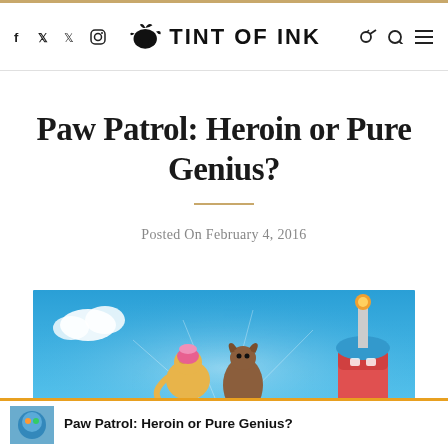TINT OF INK
Paw Patrol: Heroin or Pure Genius?
Posted On February 4, 2016
[Figure (photo): Animated Paw Patrol characters against a blue sky background]
Paw Patrol: Heroin or Pure Genius?